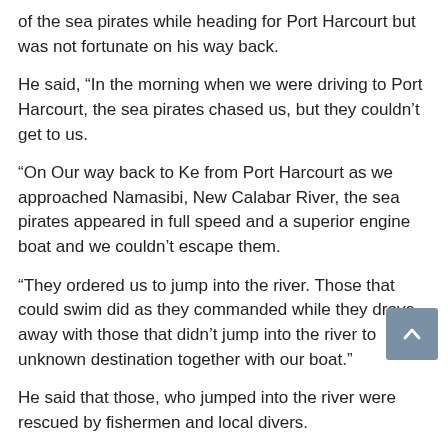of the sea pirates while heading for Port Harcourt but was not fortunate on his way back.
He said, “In the morning when we were driving to Port Harcourt, the sea pirates chased us, but they couldn’t get to us.
“On Our way back to Ke from Port Harcourt as we approached Namasibi, New Calabar River, the sea pirates appeared in full speed and a superior engine boat and we couldn’t escape them.
“They ordered us to jump into the river. Those that could swim did as they commanded while they drove away with those that didn’t jump into the river to unknown destination together with our boat.”
He said that those, who jumped into the river were rescued by fishermen and local divers.
When contacted, the state Police Public Relations Officer (PPRO), Nnamdi Omoni, a Deputy Superintendent of Police, said he had yet to get official